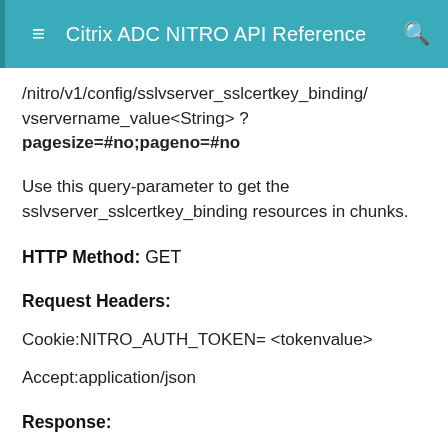Citrix ADC NITRO API Reference
/nitro/v1/config/sslvserver_sslcertkey_binding/vservername_value<String> ? pagesize=#no;pageno=#no
Use this query-parameter to get the sslvserver_sslcertkey_binding resources in chunks.
HTTP Method: GET
Request Headers:
Cookie:NITRO_AUTH_TOKEN= <tokenvalue>
Accept:application/json
Response:
HTTP Status Code on Success: 200 OK